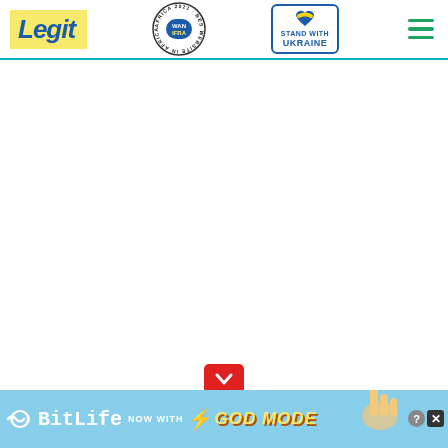Legit | WAN IFRA Africa 2021 Best News Website in Africa | Stand with Ukraine | Navigation
[Figure (screenshot): Main content area of Legit.ng website, white/blank area below header]
[Figure (infographic): Red scroll-down button with chevron/arrow icon]
[Figure (infographic): BitLife advertisement banner: 'NOW WITH GOD MODE' with hand illustration on light blue background]